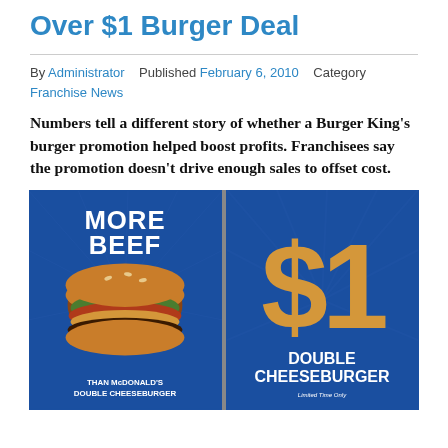Over $1 Burger Deal
By Administrator   Published February 6, 2010   Category Franchise News
Numbers tell a different story of whether a Burger King's burger promotion helped boost profits. Franchisees say the promotion doesn't drive enough sales to offset cost.
[Figure (photo): Photo of Burger King storefront window displays showing two promotional posters: left panel says 'MORE BEEF' with an image of a double cheeseburger and text 'THAN McDONALD'S DOUBLE CHEESEBURGER'; right panel shows '$1' in large gold letters above 'DOUBLE CHEESEBURGER' and 'Limited Time Only']